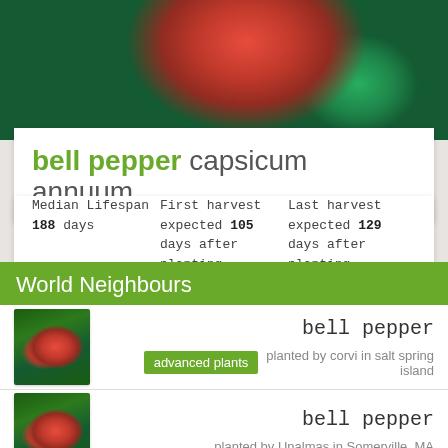[Figure (photo): Close-up photograph of a red bell pepper on a plant with green leaves]
bell pepper capsicum annuum
Median Lifespan 188 days   First harvest expected 105 days after planting   Last harvest expected 129 days after planting
World Neighbours
[Figure (photo): Bell pepper plant with red peppers and green leaves]
bell pepper
advanced plants   planted by corvi in salt spring island
[Figure (photo): Bell pepper plant with red peppers and green leaves]
bell pepper
planted by Unalmas in Somerville, MA
[Figure (photo): Bell pepper plant with red peppers (partially visible)]
bell pepper